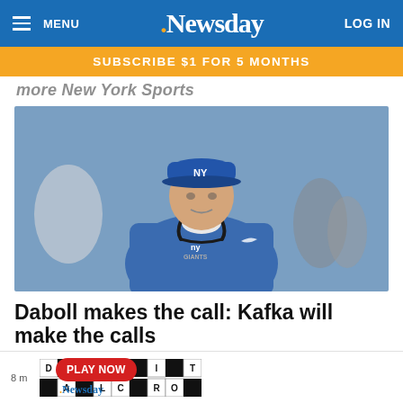MENU   .Newsday   LOG IN
SUBSCRIBE $1 FOR 5 MONTHS
more New York Sports
[Figure (photo): A New York Giants coach wearing a blue Giants jacket and NY Giants cap with headphones around his neck, standing on the sideline]
Daboll makes the call: Kafka will make the calls
8 m   DIGITAL CROSSWORD   PLAY NOW   .Newsday